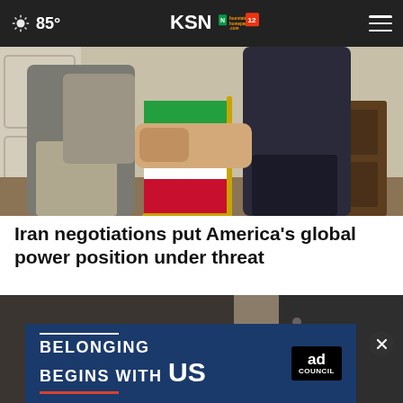85° KSN fourstates homepage .com 12
[Figure (photo): Two people shaking hands in front of an Iranian flag in an indoor formal setting]
Iran negotiations put America’s global power position under threat
[Figure (photo): Close-up of hands exchanging documents or materials]
[Figure (infographic): Ad banner: BELONGING BEGINS WITH US — Ad Council]